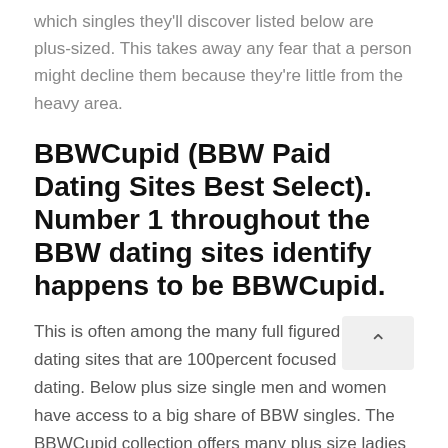which singles they'll discover listed below are plus-sized. This takes away any fear that a person might decline them because they're little from the heavy area.
BBWCupid (BBW Paid Dating Sites Best Select). Number 1 throughout the BBW dating sites identify happens to be BBWCupid.
This is often among the many full figured internet dating sites that are 100percent focused on BBW dating. Below plus size single men and women have access to a big share of BBW singles. The BBWCupid collection offers many plus size ladies together with large guy.
Of all the BBW online dating web sites, this website n 2nd most well known of plus size online dating sites regarding the number of individuals that head over to website month t